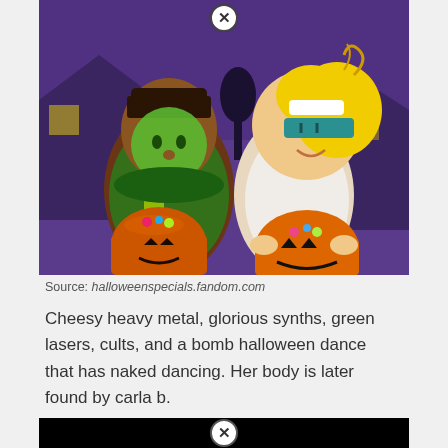[Figure (illustration): Cartoon illustration of two children in Halloween costumes holding jack-o-lantern trick-or-treat buckets, with a dark purple Halloween night suburban background. Left character wears a Frankenstein monster costume with green face paint. Right character has blonde hair and wears a superhero mask and white costume.]
Source: halloweenspecials.fandom.com
Cheesy heavy metal, glorious synths, green lasers, cults, and a bomb halloween dance that has naked dancing. Her body is later found by carla b.
[Figure (screenshot): Black bar at the bottom with a close/X button circle in the center]